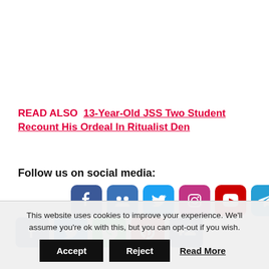READ ALSO  13-Year-Old JSS Two Student Recount His Ordeal In Ritualist Den
Follow us on social media:
[Figure (infographic): Row of social media icon buttons: Facebook, Myspace/Groups, Twitter, Instagram, YouTube, Telegram, Email]
[Figure (infographic): Row of share icon buttons: Facebook, Twitter, WhatsApp, Pinterest, Facebook share]
This website uses cookies to improve your experience. We'll assume you're ok with this, but you can opt-out if you wish.
Accept | Reject | Read More